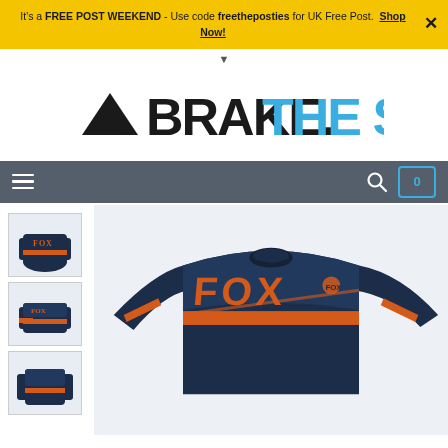It's a FREE POST WEEKEND - Use code freetheposties for UK Free Post. Shop Now!
[Figure (logo): Brake. The Shop logo with mountain icon]
[Figure (screenshot): Navigation bar with hamburger menu, search icon, and cart icon showing 0]
[Figure (photo): Product thumbnail 1: Fox navy/orange long sleeve MTB jersey front view]
[Figure (photo): Product thumbnail 2: Fox navy/orange long sleeve MTB jersey alternate view]
[Figure (photo): Product thumbnail 3: Fox navy/orange long sleeve MTB jersey third view]
[Figure (photo): Main product image: Fox navy blue and orange long sleeve MTB jersey with FOX branding, large view]